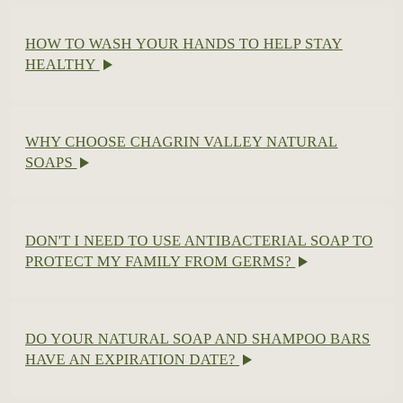HOW TO WASH YOUR HANDS TO HELP STAY HEALTHY ▶
WHY CHOOSE CHAGRIN VALLEY NATURAL SOAPS ▶
DON'T I NEED TO USE ANTIBACTERIAL SOAP TO PROTECT MY FAMILY FROM GERMS? ▶
DO YOUR NATURAL SOAP AND SHAMPOO BARS HAVE AN EXPIRATION DATE? ▶